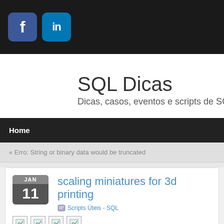[Figure (logo): Facebook and LinkedIn social media icons in dark top bar]
SQL Dicas
Dicas, casos, eventos e scripts de SQL Se
Home
« Erro: String or binary data would be truncated
scaling miniatures for 3d printing
Scripts Úteis - SQL
Share
Click on images to download 54mm miniatures STL files for your 3D Printer. Th